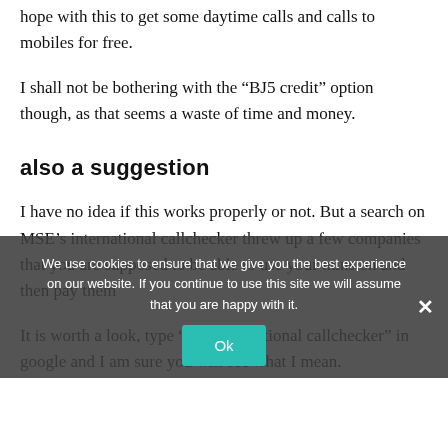hope with this to get some daytime calls and calls to mobiles for free.
I shall not be bothering with the “BJ5 credit” option though, as that seems a waste of time and money.
also a suggestion
I have no idea if this works properly or not. But a search on MSE’s international callchecker threw up a few companies that you are supposed to be able to use your mins on and then pay them
We use cookies to ensure that we give you the best experience on our website. If you continue to use this site we will assume that you are happy with it.
It is worth a look, type “The international callchecker” in google and I am sure you will see what I mean.